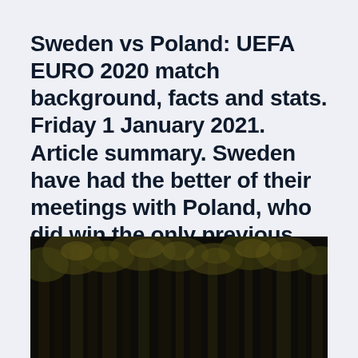Sweden vs Poland: UEFA EURO 2020 match background, facts and stats. Friday 1 January 2021. Article summary. Sweden have had the better of their meetings with Poland, who did win the only previous
[Figure (photo): Dark photograph of trees in a forest with dim green-gold foliage against a very dark background]